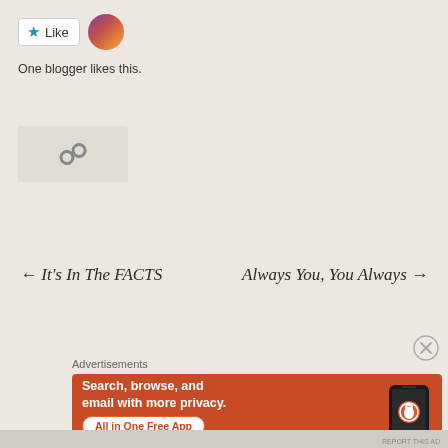[Figure (other): Like button with star icon and user avatar thumbnail]
One blogger likes this.
[Figure (other): Link/chain icon in a light box]
← It's In The FACTS
Always You, You Always →
[Figure (other): Close (X) circle button]
Advertisements
[Figure (other): DuckDuckGo advertisement banner: Search, browse, and email with more privacy. All in One Free App. DuckDuckGo.]